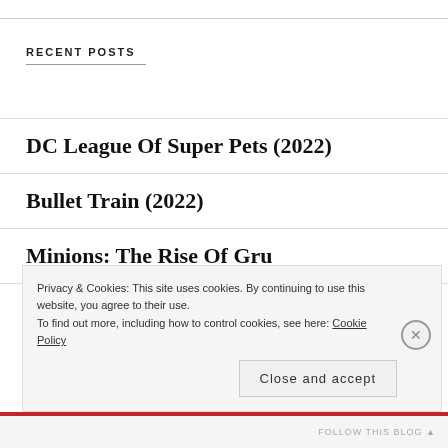RECENT POSTS
DC League Of Super Pets (2022)
Bullet Train (2022)
Minions: The Rise Of Gru
The Bad Guys (2022)
Privacy & Cookies: This site uses cookies. By continuing to use this website, you agree to their use.
To find out more, including how to control cookies, see here: Cookie Policy
Close and accept